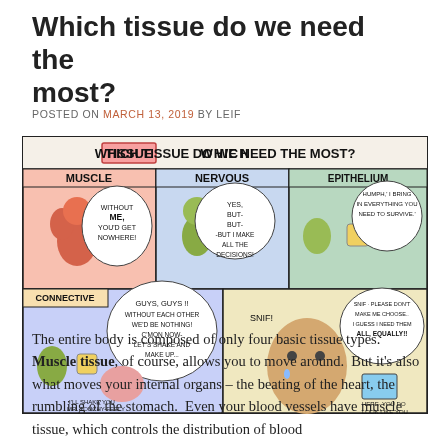Which tissue do we need the most?
POSTED ON MARCH 13, 2019 BY LEIF
[Figure (illustration): Comic strip titled 'Which Tissue Do We Need The Most?' showing cartoon characters representing Muscle, Nervous, Epithelium, and Connective tissue types arguing about which is most important, ending with a human crying and receiving a tissue box.]
The entire body is composed of only four basic tissue types. Muscle tissue, of course, allows you to move around. But it's also what moves your internal organs – the beating of the heart, the rumbling of the stomach. Even your blood vessels have muscle tissue, which controls the distribution of blood